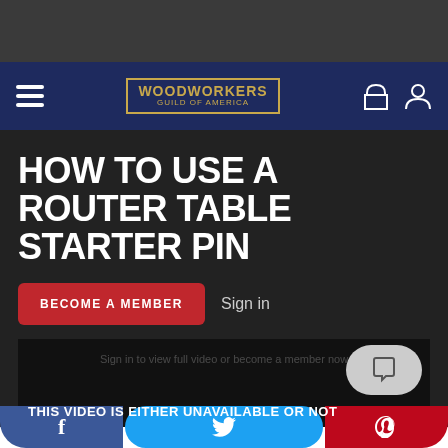[Figure (screenshot): Top gray bar area of website]
WOODWORKERS GUILD OF AMERICA — navigation bar with hamburger menu, logo, and icons
HOW TO USE A ROUTER TABLE STARTER PIN
BECOME A MEMBER   Sign in
[Figure (screenshot): Video player area showing: Sign in to view full video or become a member now. THIS VIDEO IS EITHER UNAVAILABLE OR NOT — with chat bubble overlay]
THIS VIDEO IS EITHER UNAVAILABLE OR NOT
Social share buttons: Facebook, Twitter, Pinterest